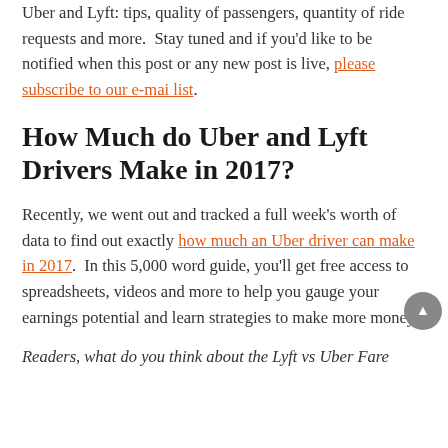Uber and Lyft: tips, quality of passengers, quantity of ride requests and more.  Stay tuned and if you'd like to be notified when this post or any new post is live, please subscribe to our e-mai list.
How Much do Uber and Lyft Drivers Make in 2017?
Recently, we went out and tracked a full week's worth of data to find out exactly how much an Uber driver can make in 2017.  In this 5,000 word guide, you'll get free access to spreadsheets, videos and more to help you gauge your earnings potential and learn strategies to make more money!
Readers, what do you think about the Lyft vs Uber Fare